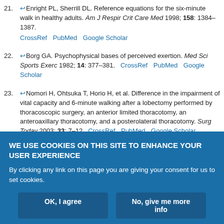21. Enright PL, Sherrill DL. Reference equations for the six-minute walk in healthy adults. Am J Respir Crit Care Med 1998; 158: 1384–1387. CrossRef PubMed Google Scholar
22. Borg GA. Psychophysical bases of perceived exertion. Med Sci Sports Exerc 1982; 14: 377–381. CrossRef PubMed Google Scholar
23. Nomori H, Ohtsuka T, Horio H, et al. Difference in the impairment of vital capacity and 6-minute walking after a lobectomy performed by thoracoscopic surgery, an anterior limited thoracotomy, an anteroaxillary thoracotomy, and a posterolateral thoracotomy. Surg Today 2003; 33: 7–12. CrossRef PubMed Google Scholar
24. Cavalheri V, Jenkins S, Cecins N, et al. Comparison of the six-minute
WE USE COOKIES ON THIS SITE TO ENHANCE YOUR USER EXPERIENCE
By clicking any link on this page you are giving your consent for us to set cookies.